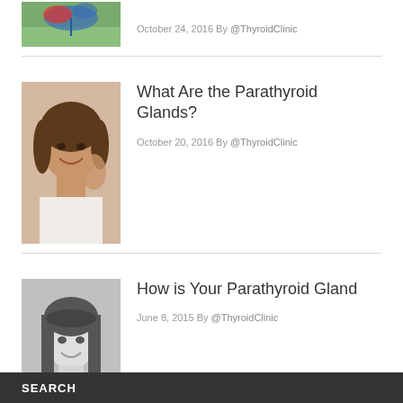[Figure (photo): Partial image of person with umbrella outdoors on grass, cropped at top]
October 24, 2016 By @ThyroidClinic
What Are the Parathyroid Glands?
[Figure (photo): Photo of smiling woman touching her face]
October 20, 2016 By @ThyroidClinic
How is Your Parathyroid Gland
[Figure (photo): Black and white photo of Asian woman smiling]
June 8, 2015 By @ThyroidClinic
SEARCH